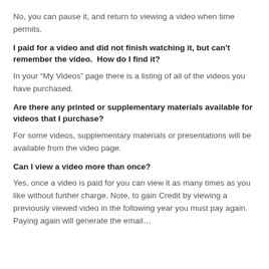No, you can pause it, and return to viewing a video when time permits.
I paid for a video and did not finish watching it, but can't remember the video.  How do I find it?
In your “My Videos” page there is a listing of all of the videos you have purchased.
Are there any printed or supplementary materials available for videos that I purchase?
For some videos, supplementary materials or presentations will be available from the video page.
Can I view a video more than once?
Yes, once a video is paid for you can view it as many times as you like without further charge. Note, to gain Credit by viewing a previously viewed video in the following year you must pay again. Paying again will generate the email…